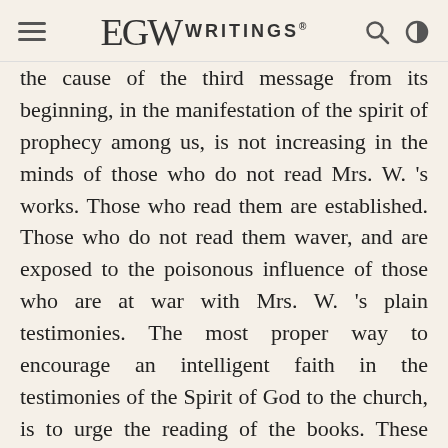EGW WRITINGS®
the cause of the third message from its beginning, in the manifestation of the spirit of prophecy among us, is not increasing in the minds of those who do not read Mrs. W. 's works. Those who read them are established. Those who do not read them waver, and are exposed to the poisonous influence of those who are at war with Mrs. W. 's plain testimonies. The most proper way to encourage an intelligent faith in the testimonies of the Spirit of God to the church, is to urge the reading of the books. These books are not what a misinformed public suppose them to be. Nothing will disarm prejudice, and increase faith in this work, like reading the books. A case at Woodland favorably illustrates this matter. When Elders Loughborough and Cornell were there with